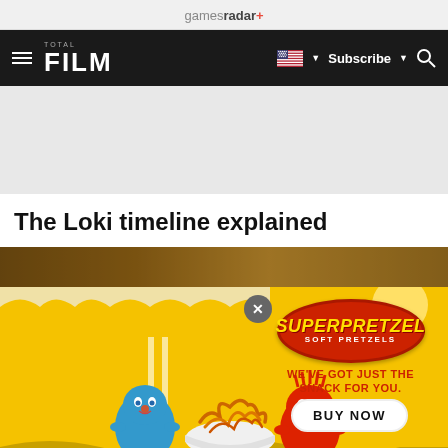gamesradar+
[Figure (screenshot): Total Film navigation bar with hamburger menu, FILM logo, US flag dropdown, Subscribe button, and search icon on dark background]
The Loki timeline explained
[Figure (photo): Article header image strip - brown/golden background, partial image of scene]
[Figure (illustration): SuperPretzel soft pretzels advertisement overlay on yellow background with cartoon characters (blue and red) holding a bowl of pretzels, SuperPretzel logo, tagline 'WE'VE GOT JUST THE SNACK FOR YOU.' and BUY NOW button]